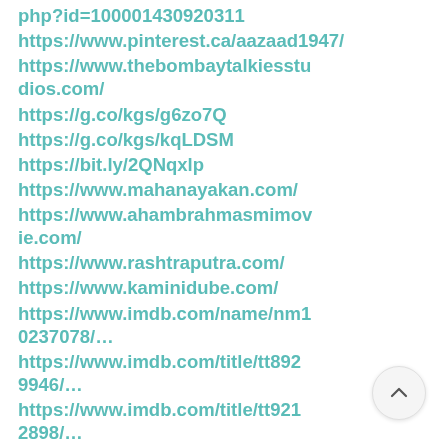php?id=100001430920311
https://www.pinterest.ca/aazaad1947/
https://www.thebombaytalkiestudios.com/
https://g.co/kgs/g6zo7Q
https://g.co/kgs/kqLDSM
https://bit.ly/2QNqxlp
https://www.mahanayakan.com/
https://www.ahambrahmasmimovie.com/
https://www.rashtraputra.com/
https://www.kaminidube.com/
https://www.imdb.com/name/nm10237078/…
https://www.imdb.com/title/tt8929946/…
https://www.imdb.com/title/tt9218908/…